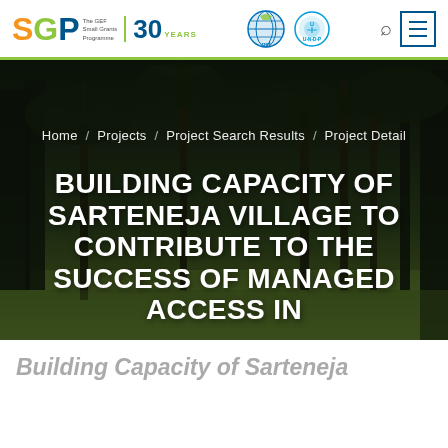[Figure (logo): SGP The GEF Small Grants Programme 30 YEARS logo with GEF globe and UNDP logos and search/menu icons in header]
[Figure (photo): Hero banner photo showing tropical forest/palm trees and grass field with dark overlay, breadcrumb navigation and large white uppercase title text overlaid]
Building Capacity of Sarteneja